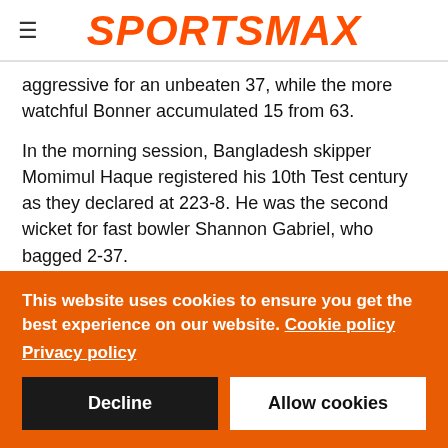≡ SPORTSMAX
aggressive for an unbeaten 37, while the more watchful Bonner accumulated 15 from 63.
In the morning session, Bangladesh skipper Momimul Haque registered his 10th Test century as they declared at 223-8. He was the second wicket for fast bowler Shannon Gabriel, who bagged 2-37.
Left-arm spinner Jomel Warrican was again the most successful bowler with 3-57 off 17.5 overs, to end with match figures of 7-
This website uses cookies to ensure you get the best experience on our website. Cookie policy
Privacy policy
Decline   Allow cookies